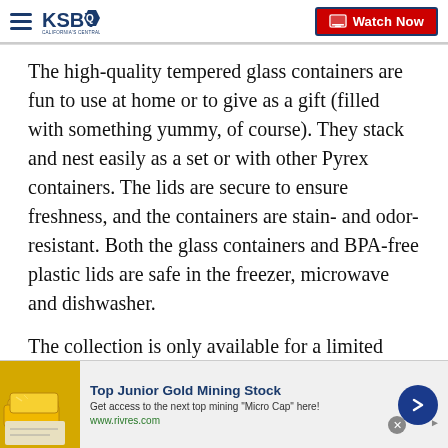KSBY - California's Central Coast | Watch Now
The high-quality tempered glass containers are fun to use at home or to give as a gift (filled with something yummy, of course). They stack and nest easily as a set or with other Pyrex containers. The lids are secure to ensure freshness, and the containers are stain- and odor-resistant. Both the glass containers and BPA-free plastic lids are safe in the freezer, microwave and dishwasher.
The collection is only available for a limited time.
“Search Star Wars on www.pyrexhome.com to make it
[Figure (screenshot): Advertisement banner: Top Junior Gold Mining Stock - Get access to the next top mining 'Micro Cap' here! www.rivres.com]